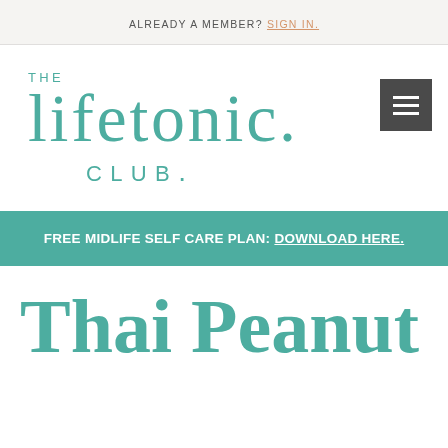ALREADY A MEMBER? SIGN IN.
[Figure (logo): The Lifetonic Club logo in teal with hamburger menu icon]
FREE MIDLIFE SELF CARE PLAN: DOWNLOAD HERE.
Thai Peanut